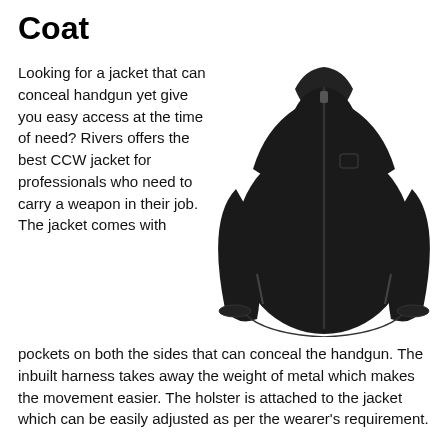Coat
Looking for a jacket that can conceal handgun yet give you easy access at the time of need? Rivers offers the best CCW jacket for professionals who need to carry a weapon in their job. The jacket comes with pockets on both the sides that can conceal the handgun. The inbuilt harness takes away the weight of metal which makes the movement easier. The holster is attached to the jacket which can be easily adjusted as per the wearer's requirement.
[Figure (photo): A black zip-up fleece CCW jacket displayed on a white background.]